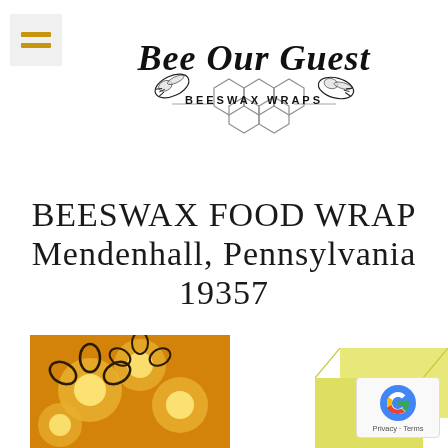[Figure (logo): Bee Our Guest Beeswax Wraps logo with cursive text and illustrated bees on honeycomb background]
BEESWAX FOOD WRAP Mendenhall, Pennsylvania 19357
[Figure (photo): Beeswax food wrap with yellow floral pattern on orange background]
[Figure (photo): Plain light yellow beeswax food wrap sheets]
Privacy · Terms